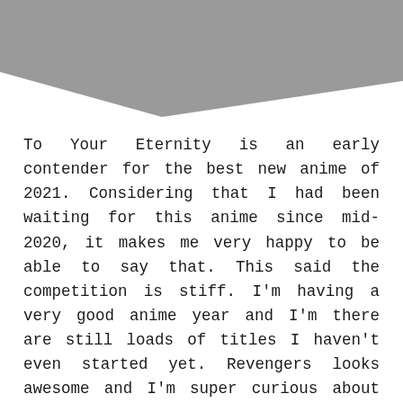[Figure (illustration): Gray diagonal decorative banner shape at the top of the page, forming a triangular/parallelogram shape in gray across the upper portion.]
To Your Eternity is an early contender for the best new anime of 2021. Considering that I had been waiting for this anime since mid-2020, it makes me very happy to be able to say that. This said the competition is stiff. I'm having a very good anime year and I'm there are still loads of titles I haven't even started yet. Revengers looks awesome and I'm super curious about Wonder Egg… We're not here to talk about those.
We're here to talk about Fushi and how he managed to get his family back. In a way.